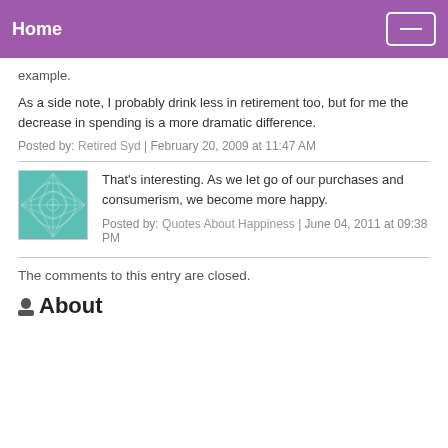Home
example.
As a side note, I probably drink less in retirement too, but for me the decrease in spending is a more dramatic difference.
Posted by: Retired Syd | February 20, 2009 at 11:47 AM
That's interesting. As we let go of our purchases and consumerism, we become more happy.
Posted by: Quotes About Happiness | June 04, 2011 at 09:38 PM
The comments to this entry are closed.
About